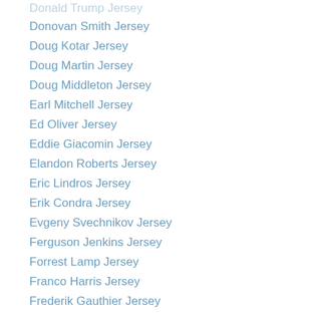Donald Trump Jersey
Donovan Smith Jersey
Doug Kotar Jersey
Doug Martin Jersey
Doug Middleton Jersey
Earl Mitchell Jersey
Ed Oliver Jersey
Eddie Giacomin Jersey
Elandon Roberts Jersey
Eric Lindros Jersey
Erik Condra Jersey
Evgeny Svechnikov Jersey
Ferguson Jenkins Jersey
Forrest Lamp Jersey
Franco Harris Jersey
Frederik Gauthier Jersey
Geno Atkins Jersey
George Bell Jersey
Greg Parrish (partial)